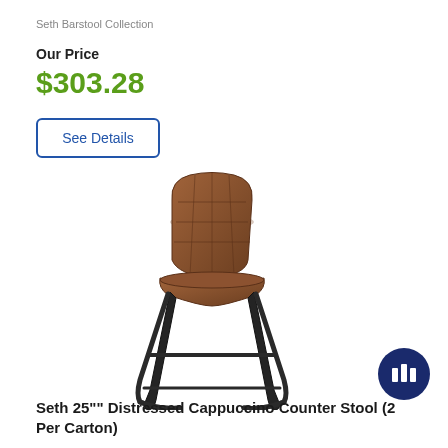Seth Barstool Collection
Our Price
$303.28
See Details
[Figure (photo): A Seth 25-inch Distressed Cappuccino Counter Stool with brown tufted faux leather seat and back, mounted on black metal sled frame legs.]
Seth 25"" Distressed Cappuccino Counter Stool (2 Per Carton)